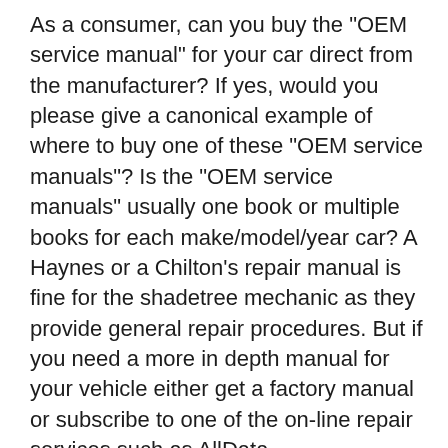As a consumer, can you buy the "OEM service manual" for your car direct from the manufacturer? If yes, would you please give a canonical example of where to buy one of these "OEM service manuals"? Is the "OEM service manuals" usually one book or multiple books for each make/model/year car? A Haynes or a Chilton's repair manual is fine for the shadetree mechanic as they provide general repair procedures. But if you need a more in depth manual for your vehicle either get a factory manual or subscribe to one of the on-line repair services such as AllData.
03/01/2018 · Thus, the book professionally describes all types of